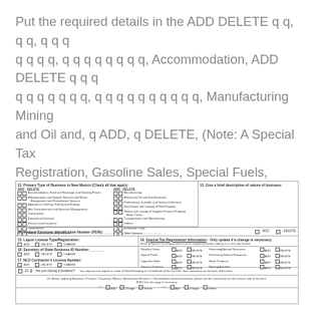Put the required details in the ADD DELETE q q, q q, q q q q q q q, q q q q q q q q, Accommodation, ADD DELETE q q q q q q q q q q, q q q q q q q q q q, Manufacturing Mining and Oil and, q ADD, q DELETE, (Note: A Special Tax Registration, Gasoline Sales, Special Fuels, qADD, and qADD box.
[Figure (screenshot): Government form section showing Primary Type of Business in New Mexico checkboxes (ADD/DELETE), Federal Employer Identification Number, Liquor License Type/Registration, Secretary of State Business ID Number, NLD Contractor's License Number, Special Tax Registration Information table, and owner/partner/officer information rows.]